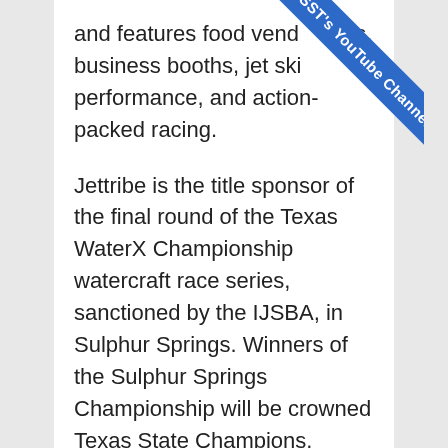and features food vendors, business booths, jet ski performance, and action-packed racing.
Jettribe is the title sponsor of the final round of the Texas WaterX Championship watercraft race series, sanctioned by the IJSBA, in Sulphur Springs. Winners of the Sulphur Springs Championship will be crowned Texas State Champions.
Watercraft racers from all over Texas, Oklahoma, Louisiana, Kansas, and guest Jettribe Team Riders from California will be